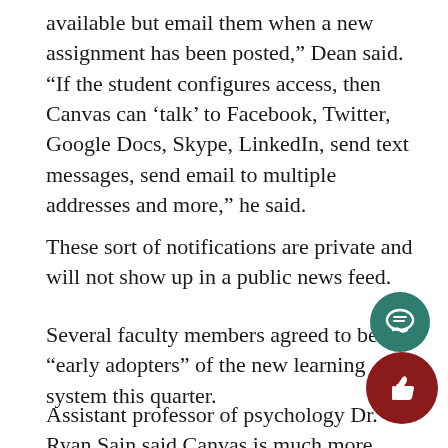available but email them when a new assignment has been posted,” Dean said. “If the student configures access, then Canvas can ‘talk’ to Facebook, Twitter, Google Docs, Skype, LinkedIn, send text messages, send email to multiple addresses and more,” he said.
These sort of notifications are private and will not show up in a public news feed.
Several faculty members agreed to be “early adopters” of the new learning system this quarter.
Assistant professor of psychology Dr. Ryan Sain said Canvas is much more socially oriented than Blackboard. “If you’re used to Facebook or Twit… it integrates so easily. It’s set up in a similar fashion to that. On Facebook, if you see it, you can click and that’s not always the case with Blackboard.”